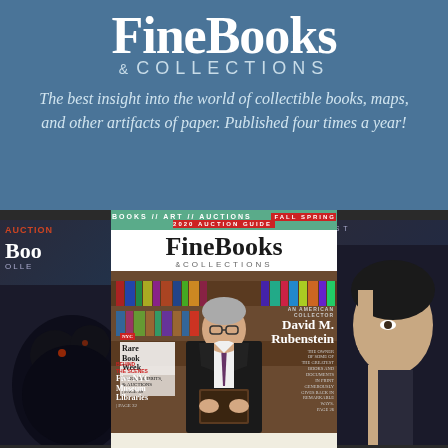[Figure (logo): Fine Books & Collections magazine logo in white serif text on blue background]
The best insight into the world of collectible books, maps, and other artifacts of paper. Published four times a year!
[Figure (photo): Collage of three Fine Books & Collections magazine covers showing David M. Rubenstein on the center cover, surrounded by two other issues]